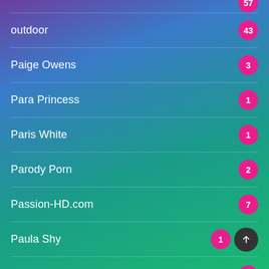outdoor
Paige Owens
Para Princess
Paris White
Parody Porn
Passion-HD.com
Paula Shy
Payton Avery